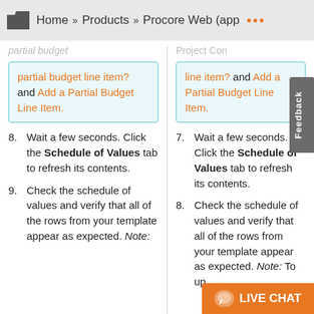Home » Products » Procore Web (app ···
partial budget line item? and Add a Partial Budget Line Item.
line item? and Add a Partial Budget Line Item.
8. Wait a few seconds. Click the Schedule of Values tab to refresh its contents.
9. Check the schedule of values and verify that all of the rows from your template appear as expected. Note:
7. Wait a few seconds. Click the Schedule of Values tab to refresh its contents.
8. Check the schedule of values and verify that all of the rows from your template appear as expected. Note: To up